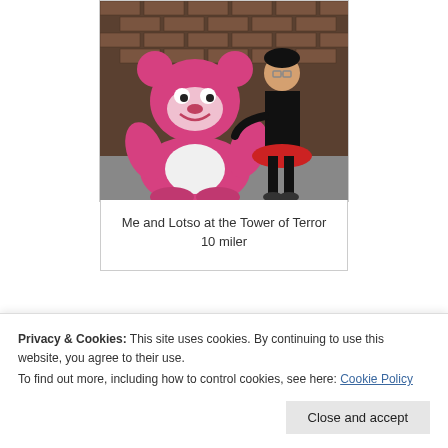[Figure (photo): Photo of a person in a red and black costume standing next to a large pink Lotso bear mascot character in front of a brick wall]
Me and Lotso at the Tower of Terror 10 miler
Privacy & Cookies: This site uses cookies. By continuing to use this website, you agree to their use.
To find out more, including how to control cookies, see here: Cookie Policy
Close and accept